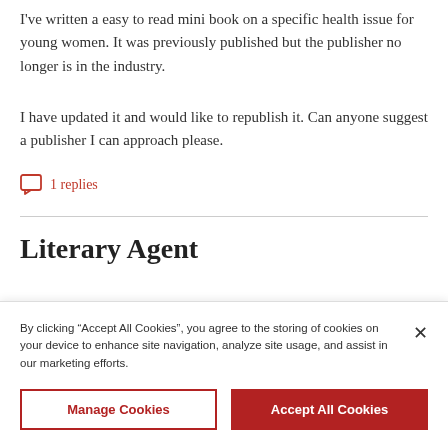I've written a easy to read mini book on a specific health issue for young women. It was previously published but the publisher no longer is in the industry.
I have updated it and would like to republish it. Can anyone suggest a publisher I can approach please.
1 replies
Literary Agent
By clicking “Accept All Cookies”, you agree to the storing of cookies on your device to enhance site navigation, analyze site usage, and assist in our marketing efforts.
Manage Cookies
Accept All Cookies